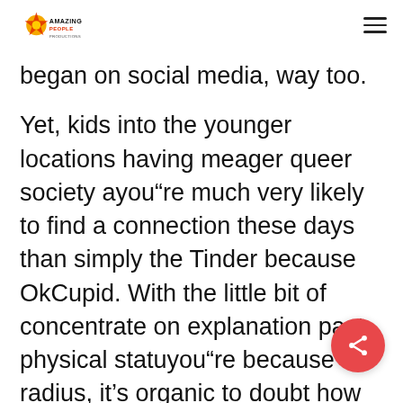Amazing People (logo) [hamburger menu]
began on social media, way too.
Yet, kids into the younger locations having meager queer society ayou“re much very likely to find a connection these days than simply the Tinder because OkCupid. With the little bit of concentrate on explanation past physical statuyou“re because radius, it’s organic to doubt how websites stimulates some sort of actual building blocks. However, surprisingly, anything Zoosk is doing is definitely working. Website offers a close event to that sort of